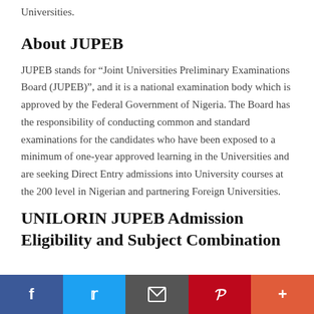Universities.
About JUPEB
JUPEB stands for “Joint Universities Preliminary Examinations Board (JUPEB)”, and it is a national examination body which is approved by the Federal Government of Nigeria. The Board has the responsibility of conducting common and standard examinations for the candidates who have been exposed to a minimum of one-year approved learning in the Universities and are seeking Direct Entry admissions into University courses at the 200 level in Nigerian and partnering Foreign Universities.
UNILORIN JUPEB Admission Eligibility and Subject Combination